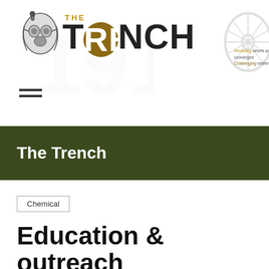[Figure (logo): The Trench website logo: gas mask illustration on left, large bold text 'THE TRENCH' with gold circle on 'RE', tagline 'Recalling where science, industry and military art converged / Challenging entrenched positions', decorative wheel illustration on right, faint large '1917' watermark behind logo]
The Trench
Chemical
Education & outreach in CW disarmament 2017